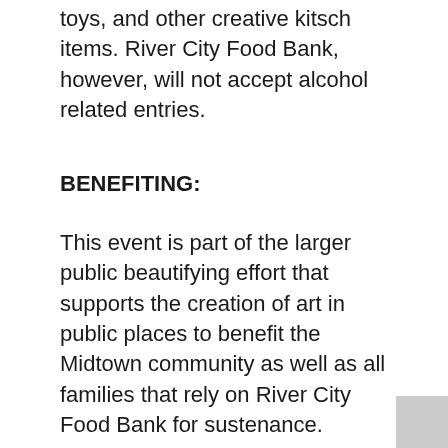toys, and other creative kitsch items. River City Food Bank, however, will not accept alcohol related entries.
BENEFITING:
This event is part of the larger public beautifying effort that supports the creation of art in public places to benefit the Midtown community as well as all families that rely on River City Food Bank for sustenance.
River City Food Bank is the only Sacramento-area food bank open every weekday to anyone experiencing hunger, from anywhere in Sacramento County. River City Food Bank offers nutritionally-balanced 3-day emergency food as well as shelter assistance and compassion